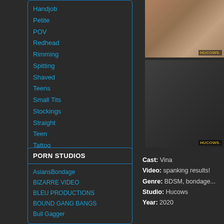Handjob
Petite
POV
Redhead
Rimming
Spitting
Shaved
Teens
Small Tits
Stockings
Straight
Teen
Tattoo
Toys
PORN STUDIOS
AsiansBondage
BIZARRE VIDEO
BLEU PRODUCTIONS
BOUND GANG BANGS
Bull Gagger
[Figure (photo): Thumbnail image top - adult content thumbnail with watermark HUCOWS]
[Figure (photo): Thumbnail image bottom - adult content thumbnail with watermark HUCOWS]
Cast: Vina
Video: spanking results!
Genre: BDSM, bondage...
Studio: Hucows
Year: 2020